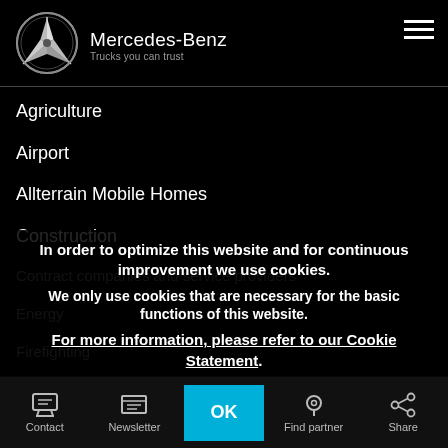[Figure (logo): Mercedes-Benz three-pointed star logo in silver on black]
Mercedes-Benz
Trucks you can trust
Agriculture
Airport
Allterrain Mobile Homes
Construction
Contract companies and service providers
Energy
Firefighting
Food & Drink
Forestry
In order to optimize this website and for continuous improvement we use cookies.
We only use cookies that are necessary for the basic functions of this website.
For more information, please refer to our Cookie Statement.
Contact | Newsletter | OK | Find partner | Share